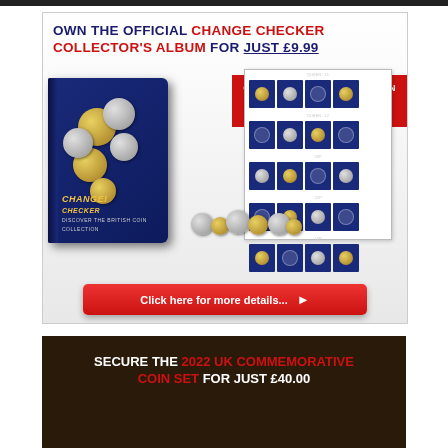[Figure (illustration): Advertisement for Change Checker Collector's Album priced at £9.99, showing a blue album binder with coins spilling out and inner pages with coin slots. Red banner reads 'Complete with presentation pages and identification cards'. Red button at bottom says 'Click here for more details...']
[Figure (illustration): Advertisement for 2022 UK Commemorative Coin Set for £40.00, dark brown/black background with white and red text.]